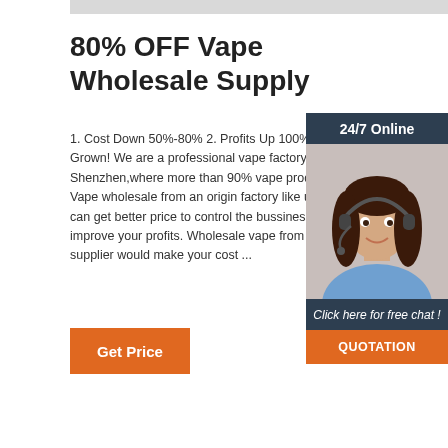80% OFF Vape Wholesale Supply
1. Cost Down 50%-80% 2. Profits Up 100% 3. Business Grown! We are a professional vape factory,located at Shenzhen,where more than 90% vape products from. Vape wholesale from an origin factory like us and you can get better price to control the bussiness cost and improve your profits. Wholesale vape from the local supplier would make your cost ...
[Figure (photo): Customer service representative woman with headset, used in a 24/7 Online chat widget with dark background and orange QUOTATION button]
Get Price
Click here for free chat !
QUOTATION